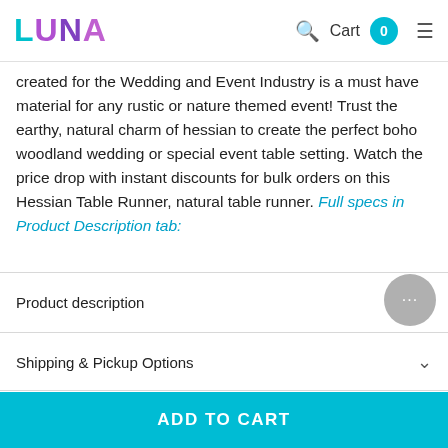LUNA — Cart 0
created for the Wedding and Event Industry is a must have material for any rustic or nature themed event! Trust the earthy, natural charm of hessian to create the perfect boho woodland wedding or special event table setting. Watch the price drop with instant discounts for bulk orders on this Hessian Table Runner, natural table runner. Full specs in Product Description tab:
Product description
Shipping & Pickup Options
Returns Policy
Reviews
ADD TO CART